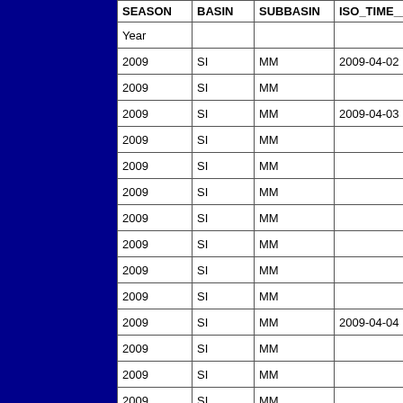| SEASON | BASIN | SUBBASIN | ISO_TIME__ |
| --- | --- | --- | --- |
| Year |  |  |  |
| 2009 | SI | MM | 2009-04-02 |
| 2009 | SI | MM |  |
| 2009 | SI | MM | 2009-04-03 |
| 2009 | SI | MM |  |
| 2009 | SI | MM |  |
| 2009 | SI | MM |  |
| 2009 | SI | MM |  |
| 2009 | SI | MM |  |
| 2009 | SI | MM |  |
| 2009 | SI | MM |  |
| 2009 | SI | MM | 2009-04-04 |
| 2009 | SI | MM |  |
| 2009 | SI | MM |  |
| 2009 | SI | MM |  |
| 2009 | SI | MM |  |
| 2009 | SI | MM |  |
| 2009 | SI | MM |  |